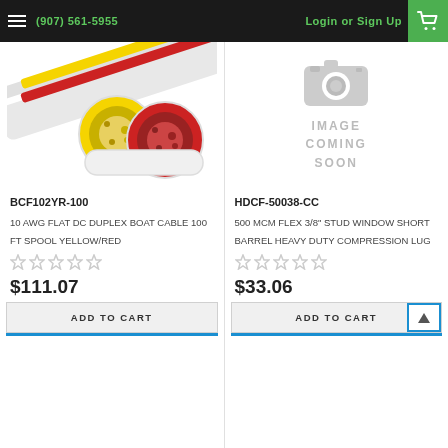(907) 561-5955  Login or Sign Up
[Figure (photo): Photo of 10 AWG flat DC duplex boat cable showing yellow and red wire cross-sections]
[Figure (other): Image coming soon placeholder with camera icon]
BCF102YR-100
10 AWG FLAT DC DUPLEX BOAT CABLE 100 FT SPOOL YELLOW/RED
HDCF-50038-CC
500 MCM FLEX 3/8" STUD WINDOW SHORT BARREL HEAVY DUTY COMPRESSION LUG
$111.07
$33.06
ADD TO CART
ADD TO CART